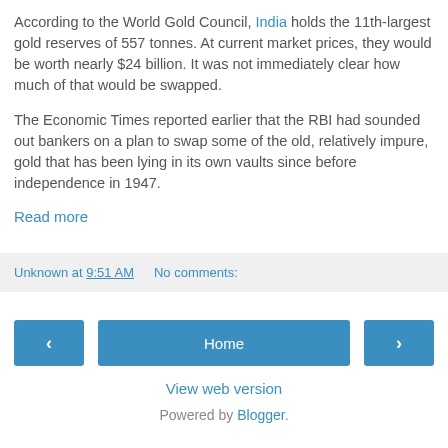According to the World Gold Council, India holds the 11th-largest gold reserves of 557 tonnes. At current market prices, they would be worth nearly $24 billion. It was not immediately clear how much of that would be swapped.
The Economic Times reported earlier that the RBI had sounded out bankers on a plan to swap some of the old, relatively impure, gold that has been lying in its own vaults since before independence in 1947.
Read more
Unknown at 9:51 AM   No comments:
View web version
Powered by Blogger.